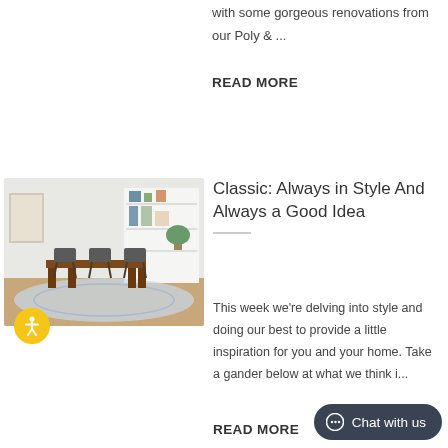with some gorgeous renovations from our Poly & ...
READ MORE
[Figure (photo): Interior photo of a modern dining room with a wooden table, chairs, white shelving, and a blue patterned area rug]
Classic: Always in Style And Always a Good Idea
This week we're delving into style and doing our best to provide a little inspiration for you and your home. Take a gander below at what we think i...
READ MORE